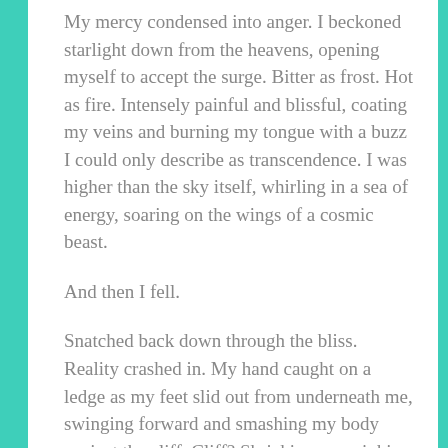My mercy condensed into anger. I beckoned starlight down from the heavens, opening myself to accept the surge. Bitter as frost. Hot as fire. Intensely painful and blissful, coating my veins and burning my tongue with a buzz I could only describe as transcendence. I was higher than the sky itself, whirling in a sea of energy, soaring on the wings of a cosmic beast.
And then I fell.
Snatched back down through the bliss. Reality crashed in. My hand caught on a ledge as my feet slid out from underneath me, swinging forward and smashing my body against the cliff. Cliff? Shrieking, my pinkies slipped on the grass, roots sprayed dirt into my eyes.
“Selene!” Kenna cried out. I couldn’t think to respond. Looking down, I saw a gaping maw of darkness, descending